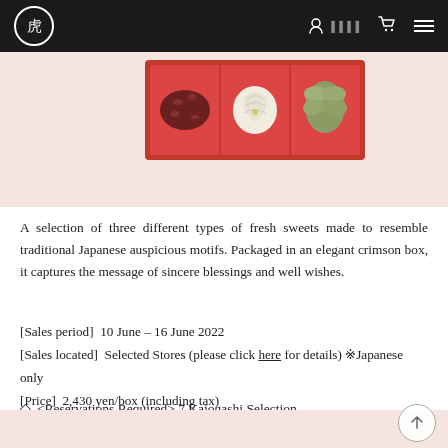虎 (logo) | user icon | cart icon | menu
[Figure (photo): Product photo of a red box containing three Japanese fresh sweets (wagashi) shaped as traditional auspicious motifs, placed on a pink background.]
A selection of three different types of fresh sweets made to resemble traditional Japanese auspicious motifs. Packaged in an elegant crimson box, it captures the message of sincere blessings and well wishes.
[Sales period] 10 June – 16 June 2022
[Sales located] Selected Stores (please click here for details) ※Japanese only
[Price] 2,430 yen/box (including tax)
◇ <Reservations Required> 7 Kajogashi Selection